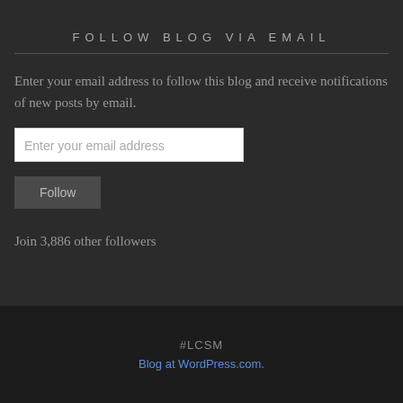FOLLOW BLOG VIA EMAIL
Enter your email address to follow this blog and receive notifications of new posts by email.
Enter your email address
Follow
Join 3,886 other followers
#LCSM
Blog at WordPress.com.